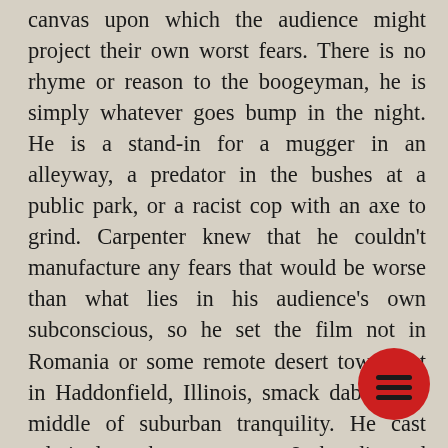canvas upon which the audience might project their own worst fears. There is no rhyme or reason to the boogeyman, he is simply whatever goes bump in the night. He is a stand-in for a mugger in an alleyway, a predator in the bushes at a public park, or a racist cop with an axe to grind. Carpenter knew that he couldn't manufacture any fears that would be worse than what lies in his audience's own subconscious, so he set the film not in Romania or some remote desert town, but in Haddonfield, Illinois, smack dab in the middle of suburban tranquility. He cast relatively unknown actors & he directed them to act ordinary. He shot in homes that could be found on any suburban street in America because he knew that fear came from within, not without.
[Figure (illustration): Red circle icon with three horizontal lines (hamburger/menu icon) in bottom right corner]